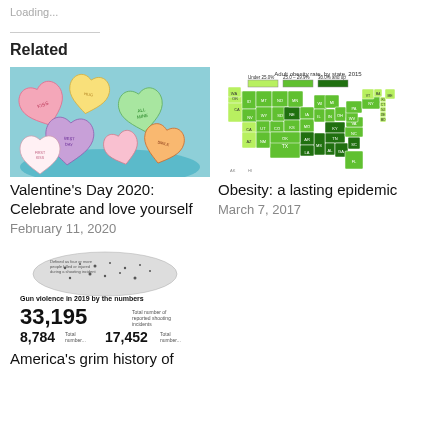Loading...
Related
[Figure (photo): Colorful candy conversation hearts in a bowl for Valentine's Day]
Valentine's Day 2020: Celebrate and love yourself
February 11, 2020
[Figure (map): Adult obesity rate by state, 2015. Choropleth map of the US showing three categories: Under 25.0% (light green), 25.0-29.9% (medium green), 30.0% and up (dark green).]
Obesity: a lasting epidemic
March 7, 2017
[Figure (infographic): Gun violence in 2019 by the numbers infographic with US map showing shooting incidents. 33,195 Total number of reported shooting incidents. 8,784 Total... 17,452 Total...]
America's grim history of